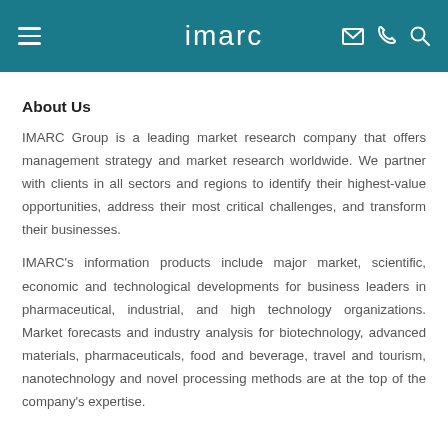imarc
About Us
IMARC Group is a leading market research company that offers management strategy and market research worldwide. We partner with clients in all sectors and regions to identify their highest-value opportunities, address their most critical challenges, and transform their businesses.
IMARC's information products include major market, scientific, economic and technological developments for business leaders in pharmaceutical, industrial, and high technology organizations. Market forecasts and industry analysis for biotechnology, advanced materials, pharmaceuticals, food and beverage, travel and tourism, nanotechnology and novel processing methods are at the top of the company's expertise.